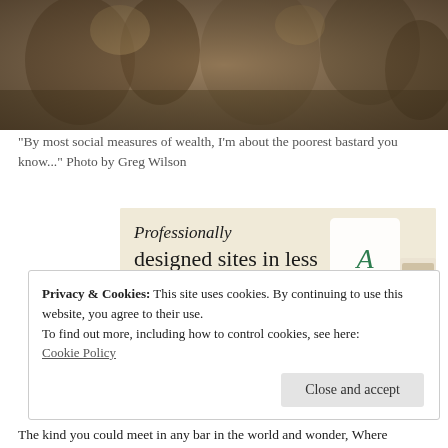[Figure (photo): Sepia-toned photograph of people outdoors, appears vintage or historical]
"By most social measures of wealth, I'm about the poorest bastard you know..." Photo by Greg Wilson
[Figure (infographic): Advertisement banner with beige background reading 'Professionally designed sites in less than a week' with green 'Explore options' button and website mockup images]
Privacy & Cookies: This site uses cookies. By continuing to use this website, you agree to their use.
To find out more, including how to control cookies, see here:
Cookie Policy
The kind you could meet in any bar in the world and wonder, Where